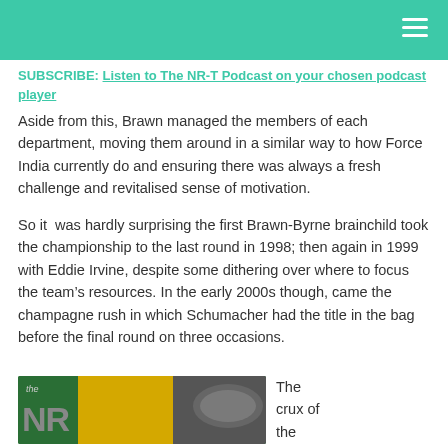SUBSCRIBE: Listen to The NR-T Podcast on your chosen podcast player
Aside from this, Brawn managed the members of each department, moving them around in a similar way to how Force India currently do and ensuring there was always a fresh challenge and revitalised sense of motivation.
So it  was hardly surprising the first Brawn-Byrne brainchild took the championship to the last round in 1998; then again in 1999 with Eddie Irvine, despite some dithering over where to focus the team’s resources. In the early 2000s though, came the champagne rush in which Schumacher had the title in the bag before the final round on three occasions.
[Figure (photo): Partial photo showing a green and yellow racing car livery with text 'the NR' visible, alongside a Formula 1 car.]
The crux of the